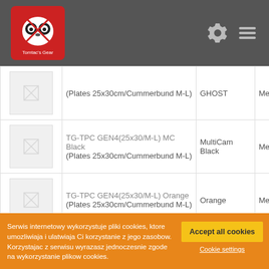Tomtac's Gear - header with logo, gear icon, and menu icon
| Image | Product Name | Brand | Size |
| --- | --- | --- | --- |
| [img] | (Plates 25x30cm/Cummerbund M-L) | GHOST | Medium |
| [img] | TG-TPC GEN4(25x30/M-L) MC Black (Plates 25x30cm/Cummerbund M-L) | MultiCam Black | Medium |
| [img] | TG-TPC GEN4(25x30/M-L) Orange (Plates 25x30cm/Cummerbund M-L) | Orange | Medium |
Serwis internetowy wykorzystuje pliki cookies, ktore umozliwiaja i ulatwiaja Ci korzystanie z jego zasobow. Korzystajac z serwisu wyrazasz jednoczesnie zgode na wykorzystanie plikow cookies.
Accept all cookies
Cookie settings